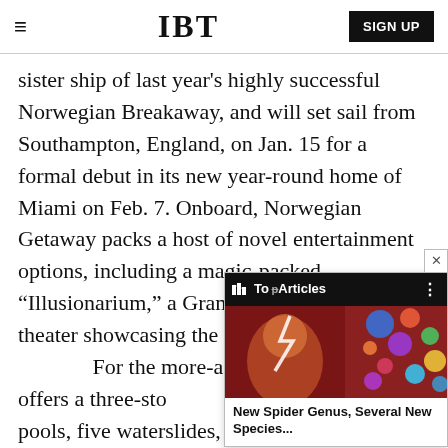IBT | SIGN UP
sister ship of last year's highly successful Norwegian Breakaway, and will set sail from Southampton, England, on Jan. 15 for a formal debut in its new year-round home of Miami on Feb. 7. Onboard, Norwegian Getaway packs a host of novel entertainment options, including a magic-packed “Illusionarium,” a Grammy Museum and a theater showcasing the Bro[adway musical “Legally] Blonde." For the more-acti[ve traveler, Norwegian] Getaway offers a three-sto[ry ropes course with] two swimming pools, five waterslides, a ropes course and a zip wire. Guests have 27 different
[Figure (screenshot): An overlay widget showing 'Top Articles' bar in black with an IBT-style icon, and a thumbnail image with colorful circles on a red background, with caption 'New Spider Genus, Several New Species...' A close button (x) appears at the top right corner.]